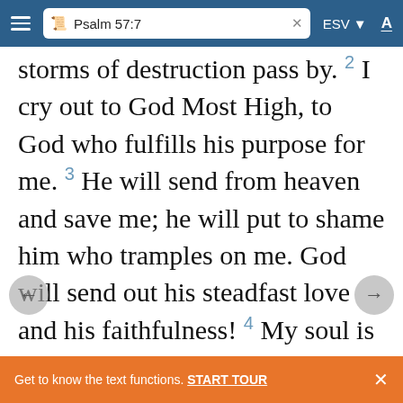Psalm 57:7 — ESV
storms of destruction pass by. 2 I cry out to God Most High, to God who fulfills his purpose for me. 3 He will send from heaven and save me; he will put to shame him who tramples on me. God will send out his steadfast love and his faithfulness! 4 My soul is in the midst of lions; I lie down amid fiery beasts— the children of man, whose teeth are spears and arrows, whose tongues are sharp
Get to know the text functions. START TOUR